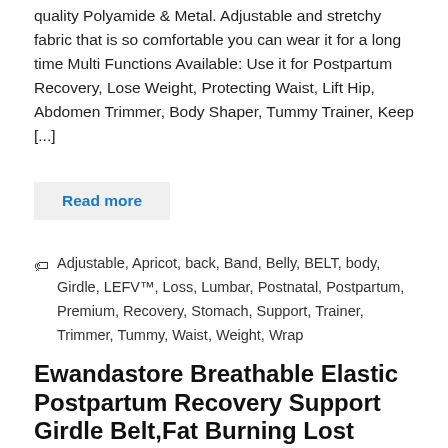quality Polyamide & Metal. Adjustable and stretchy fabric that is so comfortable you can wear it for a long time Multi Functions Available: Use it for Postpartum Recovery, Lose Weight, Protecting Waist, Lift Hip, Abdomen Trimmer, Body Shaper, Tummy Trainer, Keep [...]
Read more
Adjustable, Apricot, back, Band, Belly, BELT, body, Girdle, LEFV™, Loss, Lumbar, Postnatal, Postpartum, Premium, Recovery, Stomach, Support, Trainer, Trimmer, Tummy, Waist, Weight, Wrap
Ewandastore Breathable Elastic Postpartum Recovery Support Girdle Belt,Fat Burning Lost Weight Waist